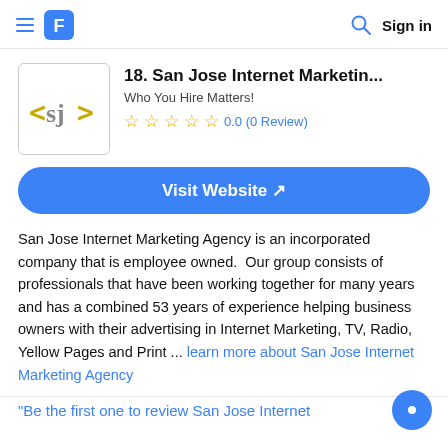San Jose Internet Marketing Agency listing page header with navigation
18. San Jose Internet Marketin...
Who You Hire Matters!
0.0 (0 Review)
Visit Website ↗
San Jose Internet Marketing Agency is an incorporated company that is employee owned.  Our group consists of professionals that have been working together for many years and has a combined 53 years of experience helping business owners with their advertising in Internet Marketing, TV, Radio, Yellow Pages and Print ... learn more about San Jose Internet Marketing Agency
"Be the first one to review San Jose Internet